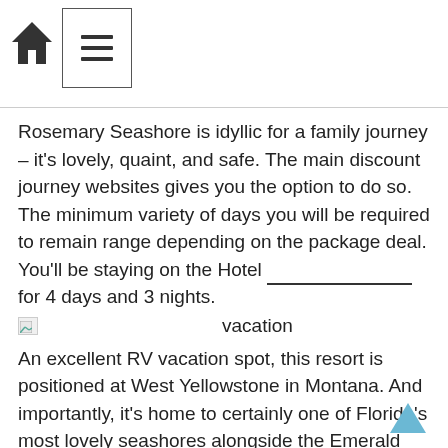[Figure (screenshot): Navigation bar with home icon and hamburger menu button in a bordered box]
Rosemary Seashore is idyllic for a family journey – it's lovely, quaint, and safe. The main discount journey websites gives you the option to do so. The minimum variety of days you will be required to remain range depending on the package deal. You'll be staying on the Hotel ________________ for 4 days and 3 nights.
[Figure (photo): Broken image placeholder with 'vacation' label]
An excellent RV vacation spot, this resort is positioned at West Yellowstone in Montana. And importantly, it's home to certainly one of Florida's most lovely seashores alongside the Emerald Coast. If you'd like a quiet and secluded beach, there's one in the midst of South Florida where you